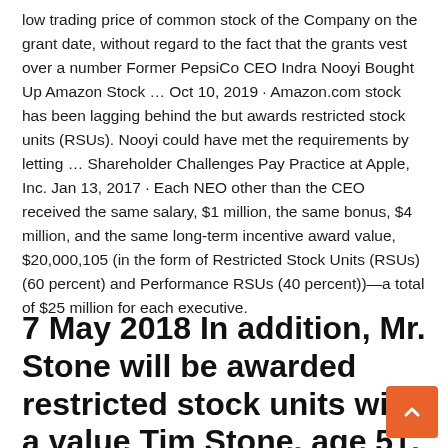low trading price of common stock of the Company on the grant date, without regard to the fact that the grants vest over a number Former PepsiCo CEO Indra Nooyi Bought Up Amazon Stock … Oct 10, 2019 · Amazon.com stock has been lagging behind the but awards restricted stock units (RSUs). Nooyi could have met the requirements by letting … Shareholder Challenges Pay Practice at Apple, Inc. Jan 13, 2017 · Each NEO other than the CEO received the same salary, $1 million, the same bonus, $4 million, and the same long-term incentive award value, $20,000,105 (in the form of Restricted Stock Units (RSUs) (60 percent) and Performance RSUs (40 percent))—a total of $25 million for each executive.
7 May 2018 In addition, Mr. Stone will be awarded restricted stock units with a value Tim Stone, age 51,